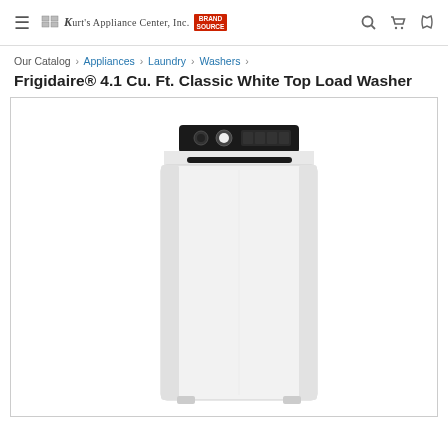Kurt's Appliance Center, Inc. | Brand Source
Our Catalog › Appliances › Laundry › Washers ›
Frigidaire® 4.1 Cu. Ft. Classic White Top Load Washer
[Figure (photo): Frigidaire top load washer, white, with black control panel on top, front-facing product photo]